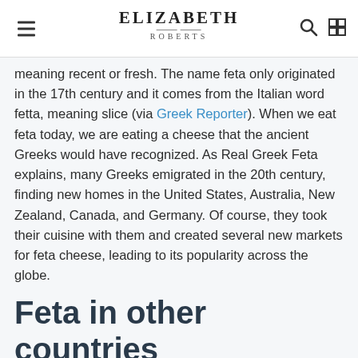ELIZABETH ROBERTS
meaning recent or fresh. The name feta only originated in the 17th century and it comes from the Italian word fetta, meaning slice (via Greek Reporter). When we eat feta today, we are eating a cheese that the ancient Greeks would have recognized. As Real Greek Feta explains, many Greeks emigrated in the 20th century, finding new homes in the United States, Australia, New Zealand, Canada, and Germany. Of course, they took their cuisine with them and created several new markets for feta cheese, leading to its popularity across the globe.
Feta in other countries
[Figure (photo): Image placeholder with alt text 'bulgarian sirene cheese']
Even though it is a protected product, not all